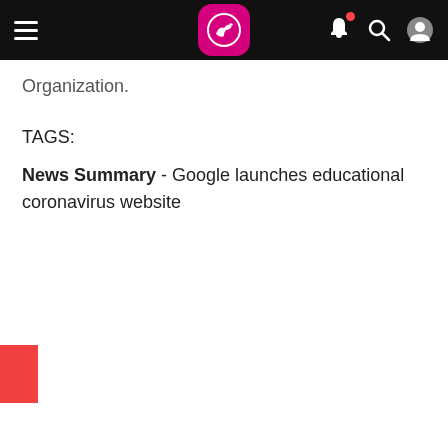App header with hamburger menu, kangaroo logo, bell notification, search, and profile icons
Organization.
TAGS:
News Summary - Google launches educational coronavirus website